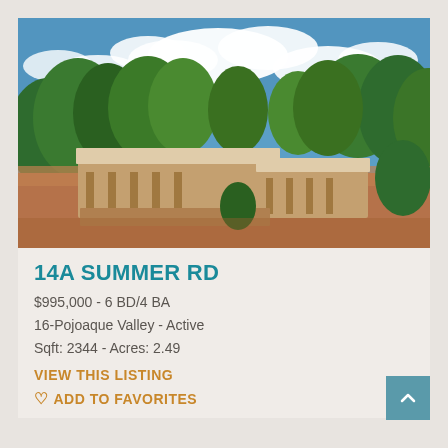[Figure (photo): Aerial view of a single-story adobe/pueblo-style home with flat roof and covered portico, surrounded by mature trees, red dirt landscape, with blue sky and white clouds above.]
14A SUMMER RD
$995,000 - 6 BD/4 BA
16-Pojoaque Valley - Active
Sqft: 2344 - Acres: 2.49
VIEW THIS LISTING
ADD TO FAVORITES